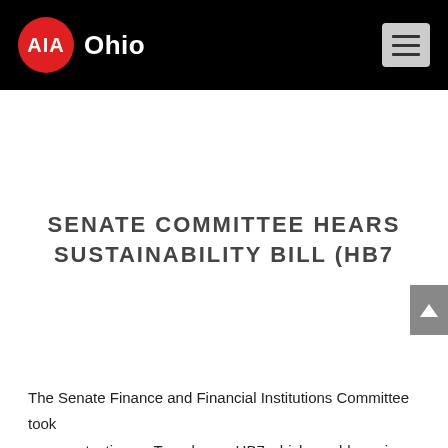AIA Ohio
SENATE COMMITTEE HEARS SUSTAINABILITY BILL (HB7
The Senate Finance and Financial Institutions Committee took sponsor testimony Tuesday on HB7 which would require a building